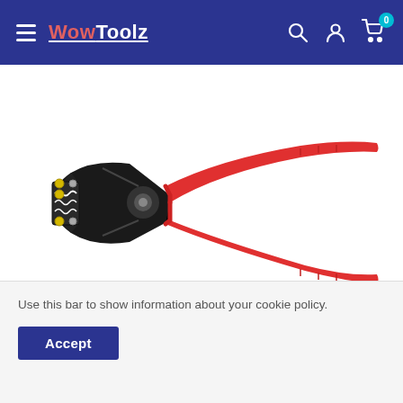WowToolz — navigation header with hamburger menu, search, account, and cart icons
[Figure (photo): A black crimping tool / wire crimper with red handle grips, open jaws showing yellow and silver contact points and a wave-pattern die, photographed on a white background.]
Use this bar to show information about your cookie policy.
Accept